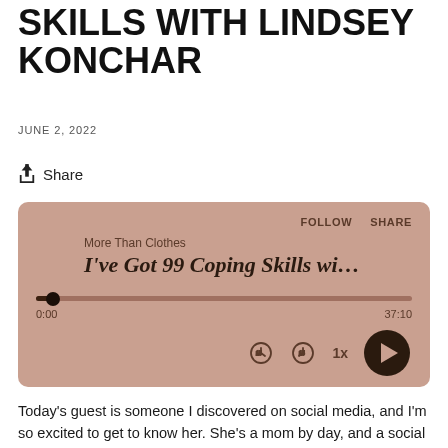SKILLS WITH LINDSEY KONCHAR
JUNE 2, 2022
Share
[Figure (screenshot): Podcast player widget with brownish-pink background showing 'More Than Clothes' podcast, episode 'I've Got 99 Coping Skills wi...' with progress bar at 0:00 of 37:10, playback speed 1x, and controls including rewind, forward, speed, and play button.]
Today's guest is someone I discovered on social media, and I'm so excited to get to know her. She's a mom by day, and a social worker by heart, who is about to drop